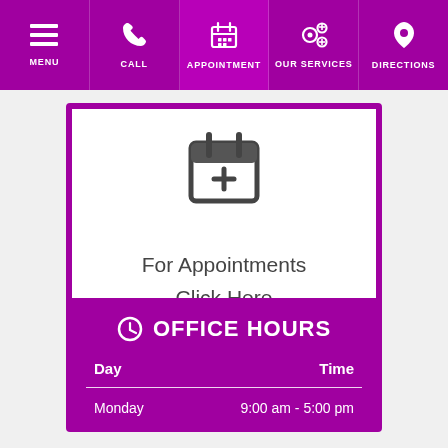MENU | CALL | APPOINTMENT | OUR SERVICES | DIRECTIONS
[Figure (screenshot): Appointment booking card with calendar-plus icon and text 'For Appointments Click Here']
For Appointments
Click Here
OFFICE HOURS
| Day | Time |
| --- | --- |
| Monday | 9:00 am - 5:00 pm |